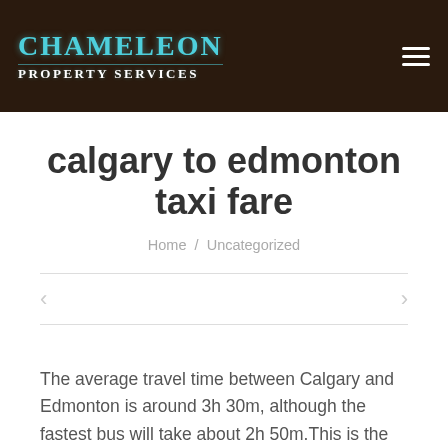[Figure (logo): Chameleon Property Services logo with teal lettering on dark brown background, with hamburger menu icon on the right]
calgary to edmonton taxi fare
Home / Uncategorized
The average travel time between Calgary and Edmonton is around 3h 30m, although the fastest bus will take about 2h 50m.This is the time it takes to travel the 282 km that